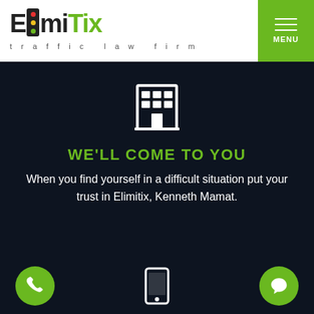[Figure (logo): ElimiTix traffic law firm logo with traffic light icon in the letter 'i']
[Figure (other): Green hamburger menu button with MENU label]
[Figure (illustration): White building/office icon on dark navy background]
WE'LL COME TO YOU
When you find yourself in a difficult situation put your trust in Elimitix, Kenneth Mamat.
[Figure (illustration): Green circle button with white phone icon]
[Figure (illustration): White mobile phone icon]
[Figure (illustration): Green circle button with white chat bubble icon]